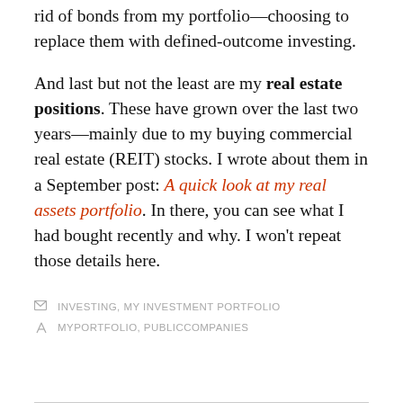rid of bonds from my portfolio—choosing to replace them with defined-outcome investing.
And last but not the least are my real estate positions. These have grown over the last two years—mainly due to my buying commercial real estate (REIT) stocks. I wrote about them in a September post: A quick look at my real assets portfolio. In there, you can see what I had bought recently and why. I won't repeat those details here.
INVESTING, MY INVESTMENT PORTFOLIO
MYPORTFOLIO, PUBLICCOMPANIES